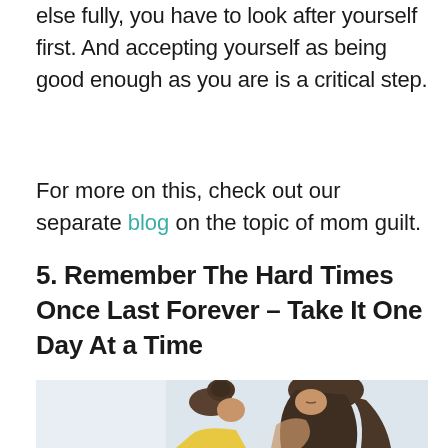else fully, you have to look after yourself first. And accepting yourself as being good enough as you are is a critical step.
For more on this, check out our separate blog on the topic of mom guilt.
5. Remember The Hard Times Once Last Forever – Take It One Day At a Time
[Figure (photo): Two women embracing in a hug, one with hair up in a bun and another with straight dark hair falling down, warm tones]